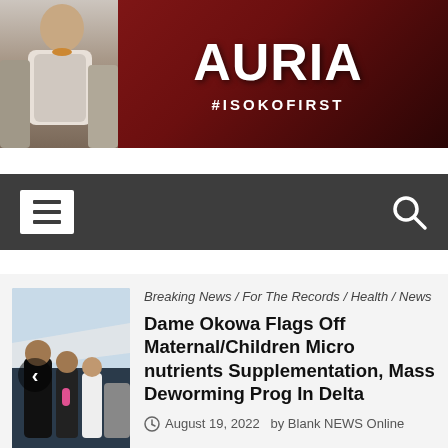[Figure (photo): Political campaign banner showing a person with the text 'AURIA' and '#ISOKOFIRST' on a dark red background]
[Figure (screenshot): Website navigation bar with hamburger menu icon on left and search icon on right, dark grey background]
[Figure (photo): Thumbnail photo of a person at an outdoor event, with a left navigation arrow overlay]
Breaking News / For The Records / Health / News
Dame Okowa Flags Off Maternal/Children Micro nutrients Supplementation, Mass Deworming Prog In Delta
August 19, 2022   by Blank NEWS Online